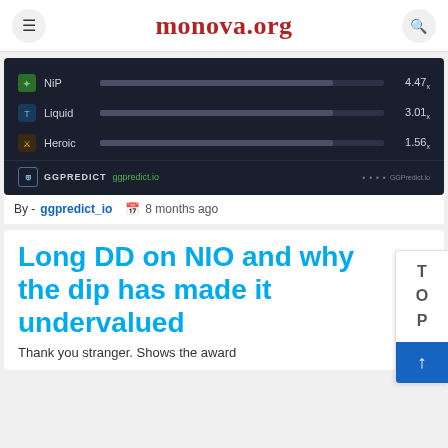monova.org
[Figure (screenshot): GGPredict esports prediction widget showing NIP at 4.47x, Liquid at 3.01x, Heroic at 1.56x odds with bar chart visualization on dark background]
By - ggpredict_io   8 months ago
Long DD on NIO and why the dip has made it undervalued
Thank you stranger. Shows the award